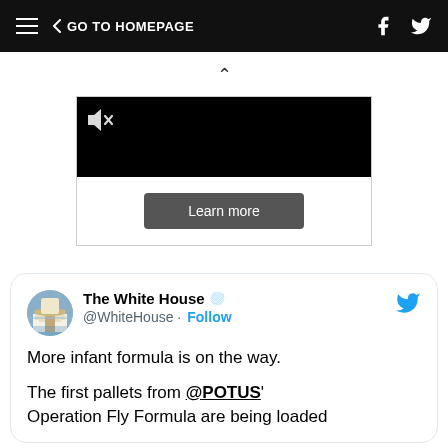GO TO HOMEPAGE
[Figure (screenshot): Black video player with muted speaker icon and Learn more button below]
[Figure (screenshot): Embedded tweet from The White House (@WhiteHouse) with blue Twitter bird icon, verified checkmark, Follow button, and tweet text: 'More infant formula is on the way. The first pallets from @POTUS' Operation Fly Formula are being loaded']